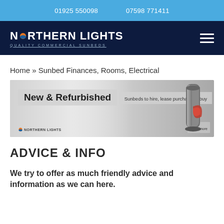01925 550098   07598 771411
[Figure (logo): Northern Lights Quality Commercial Sunbeds logo on dark navy background with hamburger menu icon]
Home » Sunbed Finances, Rooms, Electrical
[Figure (illustration): Banner advertisement: 'New & Refurbished – Sunbeds to hire, lease purchase or buy' with Northern Lights logo and image of a standing sunbed tanning unit. Read more button bottom right.]
ADVICE & INFO
We try to offer as much friendly advice and information as we can here.